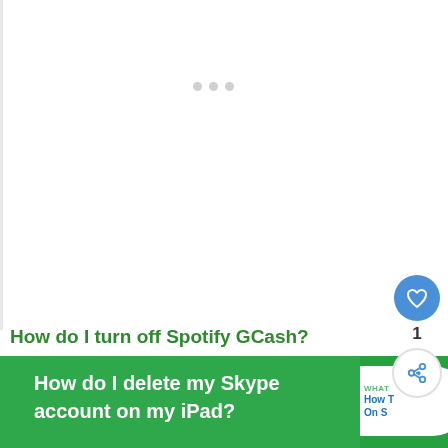[Figure (screenshot): White content area with three gray dots loading indicator in the upper middle portion of the page]
How do I turn off Spotify GCash?
How do I delete my Skype account on my iPad?
WHAT How T On S
[Figure (other): Blue circular heart/like button with number 1 below it, and a share button below that]
1